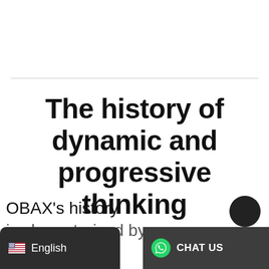The history of dynamic and progressive thinking
OBAX's history is characterised by